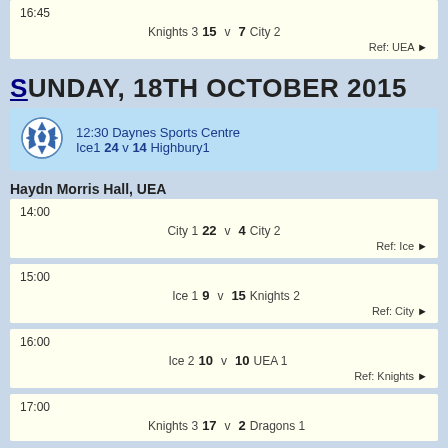| Time | Home | Score | vs | Score | Away | Ref |
| --- | --- | --- | --- | --- | --- | --- |
| 16:45 | Knights 3 | 15 | v | 7 | City 2 | Ref: UEA |
SUNDAY, 18TH OCTOBER 2015
| Time | Venue | Home | Score | vs | Score | Away |
| --- | --- | --- | --- | --- | --- | --- |
| 12:30 | Daynes Sports Centre | Ice1 | 24 | v | 14 | Highbury1 |
Haydn Morris Hall, UEA
| Time | Home | Score | vs | Score | Away | Ref |
| --- | --- | --- | --- | --- | --- | --- |
| 14:00 | City 1 | 22 | v | 4 | City 2 | Ref: Ice |
| 15:00 | Ice 1 | 9 | v | 15 | Knights 2 | Ref: City |
| 16:00 | Ice 2 | 10 | v | 10 | UEA 1 | Ref: Knights |
| 17:00 | Knights 3 | 17 | v | 2 | Dragons 1 |  |